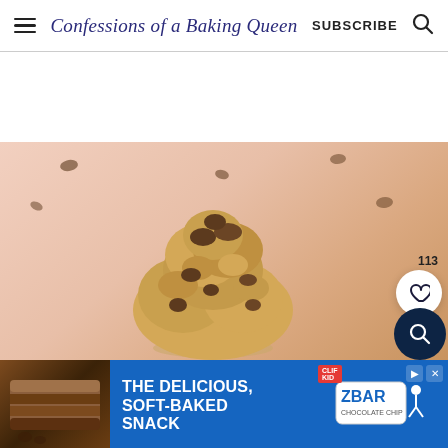Confessions of a Baking Queen | SUBSCRIBE
[Figure (photo): Close-up food photo of a mound of cookie dough topped with chocolate chips in a glass jar, on a pink background with scattered chocolate chips]
[Figure (infographic): Advertisement banner: THE DELICIOUS, SOFT-BAKED SNACK — ZBAR Clif bar chocolate chip product ad with blue background]